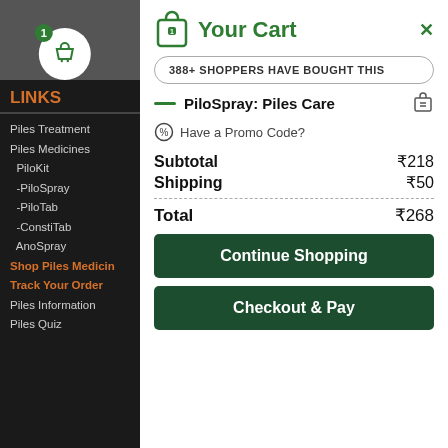[Figure (screenshot): Left navigation panel with dark background showing cart icon with badge and navigation links]
Your Cart
388+ SHOPPERS HAVE BOUGHT THIS
PiloSpray: Piles Care
Have a Promo Code?
| Subtotal | ₹218 |
| Shipping | ₹50 |
| Total | ₹268 |
Continue Shopping
Checkout & Pay